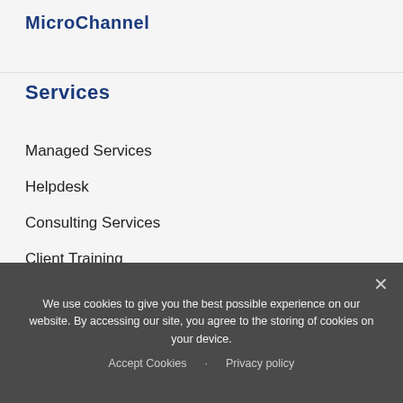MicroChannel
Services
Managed Services
Helpdesk
Consulting Services
Client Training
Contact Us
+65 6589 0007
info@microchannel.com.sg
We use cookies to give you the best possible experience on our website. By accessing our site, you agree to the storing of cookies on your device.
Accept Cookies · Privacy policy